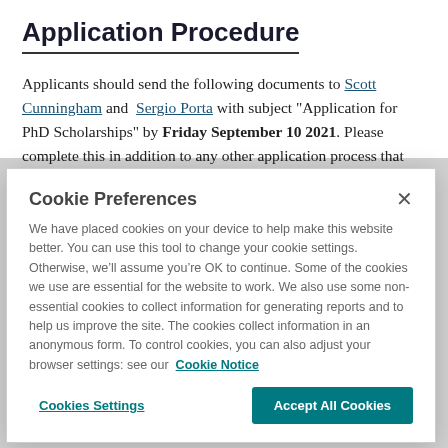Application Procedure
Applicants should send the following documents to Scott Cunningham and Sergio Porta with subject “Application for PhD Scholarships” by Friday September 10 2021. Please complete this in addition to any other application process that may be requested by the university through central
Cookie Preferences
We have placed cookies on your device to help make this website better. You can use this tool to change your cookie settings. Otherwise, we’ll assume you’re OK to continue. Some of the cookies we use are essential for the website to work. We also use some non-essential cookies to collect information for generating reports and to help us improve the site. The cookies collect information in an anonymous form. To control cookies, you can also adjust your browser settings: see our Cookie Notice
Cookies Settings | Accept All Cookies